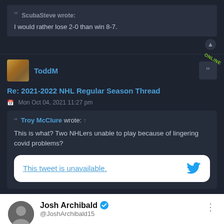ScubaSteve wrote: I would rather lose 2-0 than win 8-7.
ToddM
Re: 2021-2022 NHL Regular Season Thread
Mon Oct 04, 2021 11:27 pm
Troy McClure wrote: ↑ This is what? Two NHLers unable to play because of lingering covid problems?
This tweet is unavailable.
Josh Archibald @JoshArchibald15